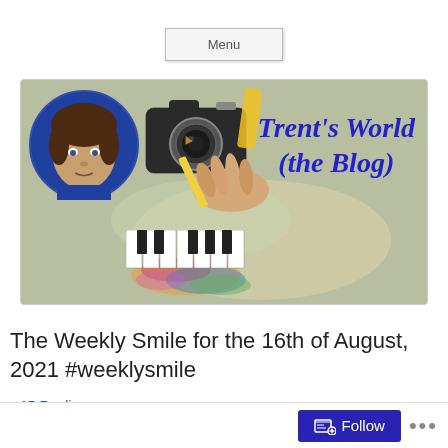Menu
[Figure (illustration): Trent's World (the Blog) banner with portrait illustration, camera, piano keys, paintbrush, and colorful background]
The Weekly Smile for the 16th of August, 2021 #weeklysmile
15 Replies
[Figure (photo): Partial image area with beige/cream background at bottom of page]
Follow